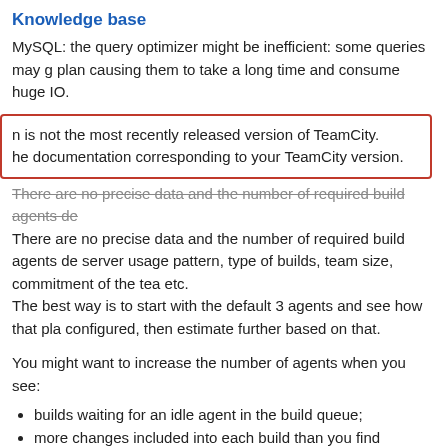Knowledge base
MySQL: the query optimizer might be inefficient: some queries may g plan causing them to take a long time and consume huge IO.
n is not the most recently released version of TeamCity.
he documentation corresponding to your TeamCity version.
There are no precise data and the number of required build agents de server usage pattern, type of builds, team size, commitment of the tea etc.
The best way is to start with the default 3 agents and see how that pla configured, then estimate further based on that.
You might want to increase the number of agents when you see:
builds waiting for an idle agent in the build queue;
more changes included into each build than you find comfortab failures analysis);
necessity for different environments.
We've seen patterns of having an agent per each 20 build configuratio Or a build agent per 1-2 developers.
See also notes on maximum supported number of agents.